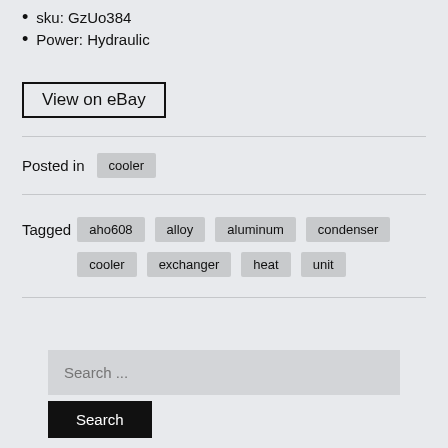sku: GzUo384
Power: Hydraulic
View on eBay
Posted in   cooler
Tagged   aho608   alloy   aluminum   condenser   cooler   exchanger   heat   unit
Search ...
Search